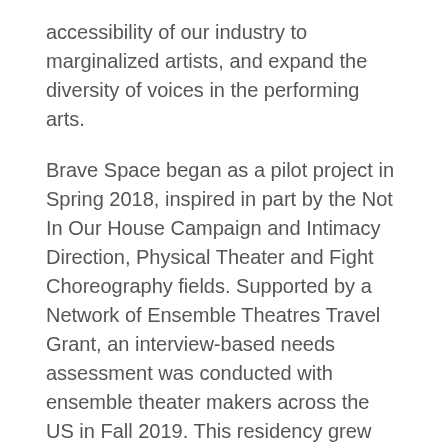accessibility of our industry to marginalized artists, and expand the diversity of voices in the performing arts.
Brave Space began as a pilot project in Spring 2018, inspired in part by the Not In Our House Campaign and Intimacy Direction, Physical Theater and Fight Choreography fields. Supported by a Network of Ensemble Theatres Travel Grant, an interview-based needs assessment was conducted with ensemble theater makers across the US in Fall 2019. This residency grew from a partnership with the Cucalorus Film Foundation begun during these interviews.
About the Residency
The Brave Space residency is seeking a small, diverse group of artists to participate in a five day workshop at...